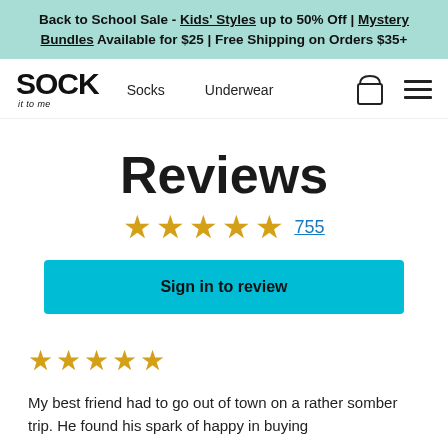Back to School Sale - Kids' Styles up to 50% Off | Mystery Bundles Available for $25 | Free Shipping on Orders $35+
[Figure (logo): Sock It to Me logo with nav links: Socks, Underwear, shopping bag icon, hamburger menu]
Reviews
★★★★★ 755
Sign in to review
★★★★★
My best friend had to go out of town on a rather somber trip. He found his spark of happy in buying